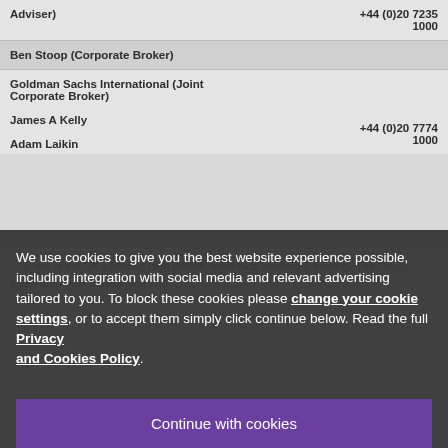| Name/Role | Phone |
| --- | --- |
| Adviser) | +44 (0)20 7235 1000 |
| Ben Stoop (Corporate Broker) |  |
| Goldman Sachs International (Joint Corporate Broker) |  |
| James A Kelly | +44 (0)20 7774 1000 |
| Adam Laikin |  |
We use cookies to give you the best website experience possible, including integration with social media and relevant advertising tailored to you. To block these cookies please change your cookie settings, or to accept them simply click continue below. Read the full Privacy and Cookies Policy.
Continue with cookies